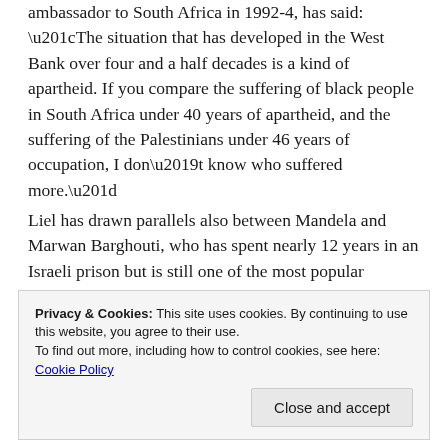been drawn by Palestinians. Liel, who was Israeli ambassador to South Africa in 1992-4, has said: “The situation that has developed in the West Bank over four and a half decades is a kind of apartheid. If you compare the suffering of black people in South Africa under 40 years of apartheid, and the suffering of the Palestinians under 46 years of occupation, I don’t know who suffered more.”
Liel has drawn parallels also between Mandela and Marwan Barghouti, who has spent nearly 12 years in an Israeli prison but is still one of the most popular politicians in Palestine. Liel is possibly the only man who has known both Mandela and Barghouti well.
Privacy & Cookies: This site uses cookies. By continuing to use this website, you agree to their use. To find out more, including how to control cookies, see here: Cookie Policy